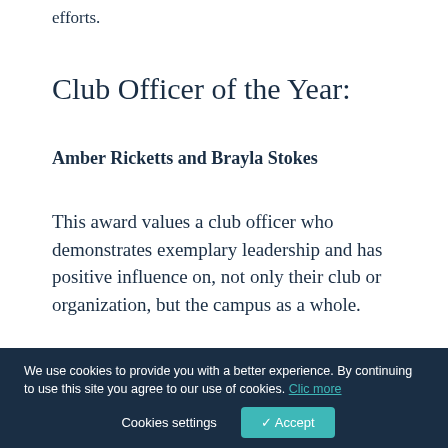efforts.
Club Officer of the Year:
Amber Ricketts and Brayla Stokes
This award values a club officer who demonstrates exemplary leadership and has positive influence on, not only their club or organization, but the campus as a whole.
INDIVIDUAL AWARDS
Student Organization of...
Alexia Kemerling